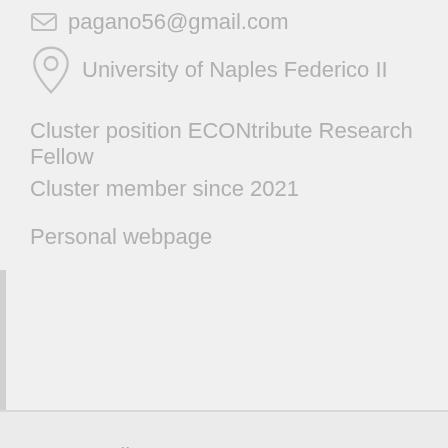pagano56@gmail.com
University of Naples Federico II
Cluster position ECONtribute Research Fellow
Cluster member since 2021
Personal webpage
+ open all
Research Areas
Main research topics